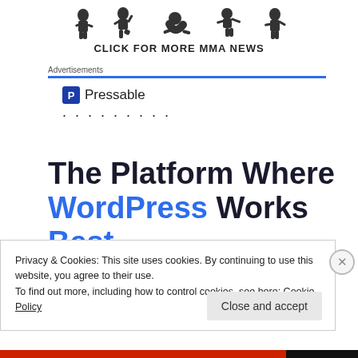[Figure (illustration): Silhouette MMA fighters with text CLICK FOR MORE MMA NEWS below]
Advertisements
[Figure (logo): Pressable logo with blue P icon and dotted separator]
The Platform Where WordPress Works Best
Privacy & Cookies: This site uses cookies. By continuing to use this website, you agree to their use.
To find out more, including how to control cookies, see here: Cookie Policy
Close and accept